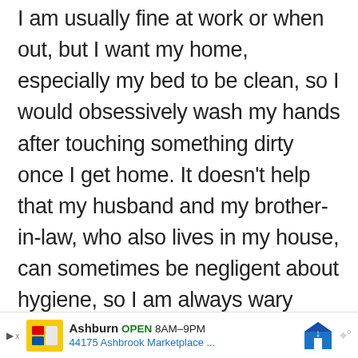I am usually fine at work or when out, but I want my home, especially my bed to be clean, so I would obsessively wash my hands after touching something dirty once I get home. It doesn't help that my husband and my brother-in-law, who also lives in my house, can sometimes be negligent about hygiene, so I am always wary about shared items.
Reply
Chandramouli says
WHAT'S NEXT → Fear of Cockroaches...
Ashburn OPEN 8AM–9PM 44175 Ashbrook Marketplace ...